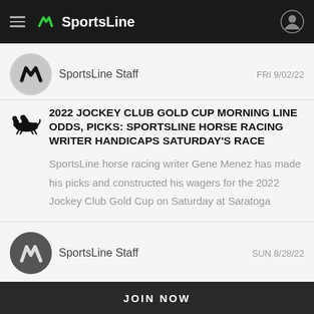SportsLine
SportsLine Staff   FRI 9/02/22
2022 JOCKEY CLUB GOLD CUP MORNING LINE ODDS, PICKS: SPORTSLINE HORSE RACING WRITER HANDICAPS SATURDAY'S RACE
SportsLine horse racing writer Gene Menez has made his picks and constructed his wagers for the 2022 Jockey Club Gold Cup on Saturday at Saratoga
SportsLine Staff   SUN 8/28/22
JOIN NOW